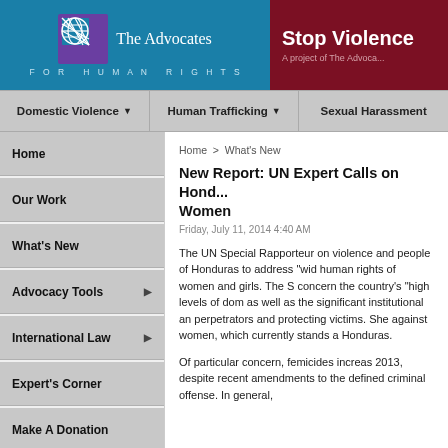[Figure (logo): The Advocates for Human Rights logo - teal background with globe graphic and organization name]
[Figure (logo): Stop Violence banner - dark red/maroon background with white bold text 'Stop Violence' and subtitle 'A project of The Advoca...']
Domestic Violence ▾  Human Trafficking ▾  Sexual Harassment
Home
Our Work
What's New
Advocacy Tools ▶
International Law ▶
Expert's Corner
Make A Donation
Home > What's New
New Report: UN Expert Calls on Hond... Women
Friday, July 11, 2014 4:40 AM
The UN Special Rapporteur on violence and people of Honduras to address "wid human rights of women and girls. The S concern the country's "high levels of dor as well as the significant institutional an perpetrators and protecting victims. She against women, which currently stands a Honduras.
Of particular concern, femicides increas 2013, despite recent amendments to the defined criminal offense. In general,